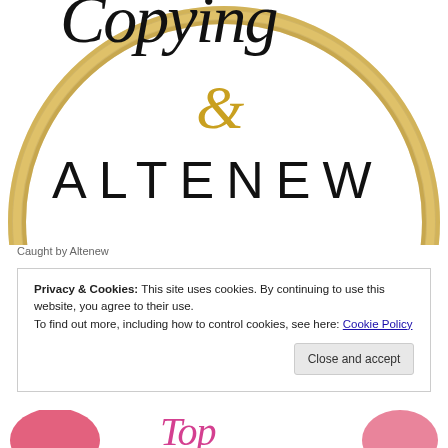[Figure (logo): Altenew brand logo inside a circular gold glitter border. The word ALTENEW is displayed in large spaced black uppercase letters with a gold ampersand symbol above it. Partial cursive text visible at top of circle.]
Caught by Altenew
Privacy & Cookies: This site uses cookies. By continuing to use this website, you agree to their use.
To find out more, including how to control cookies, see here: Cookie Policy
[Figure (illustration): Partial bottom strip showing colorful brand imagery in pink, teal, and purple]